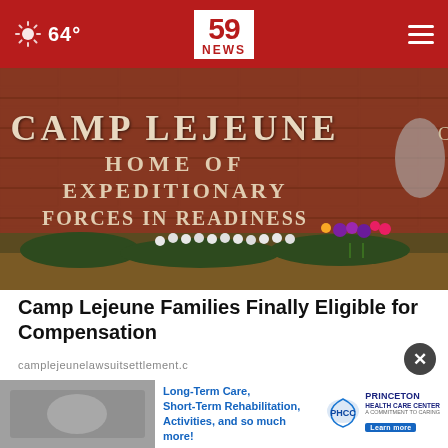64° | 59 NEWS
[Figure (photo): Camp Lejeune entrance sign on a brick wall reading 'CAMP LEJEUNE HOME OF EXPEDITIONARY FORCES IN READINESS' with white flower memorials and colorful flowers placed at the base]
Camp Lejeune Families Finally Eligible for Compensation
camplejeunelawsuitsettlement.c
[Figure (infographic): Princeton Health Care Center advertisement: Long-Term Care, Short-Term Rehabilitation, Activities, and so much more! with PHCC logo and Learn more button]